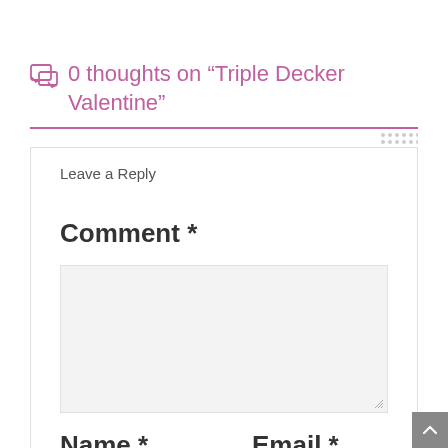0 thoughts on “Triple Decker Valentine”
Leave a Reply
Comment *
Name *
Email *